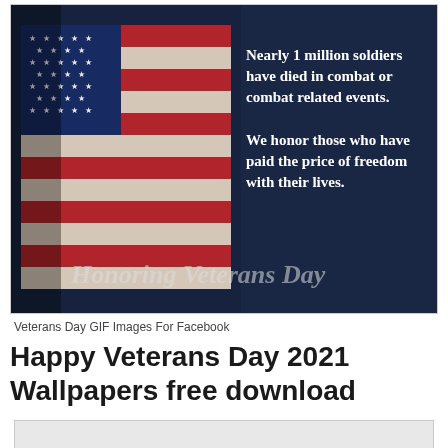[Figure (illustration): Veterans Day image showing American flag on left side and dark blue background on right with white text: 'Nearly 1 million soldiers have died in combat or combat related events. We honor those who have paid the price of freedom with their lives.' Watermark text reads 'Honoring Veterans Day']
Veterans Day GIF Images For Facebook
Happy Veterans Day 2021 Wallpapers free download
[Figure (illustration): Partially visible light gray image placeholder at the bottom of the page]